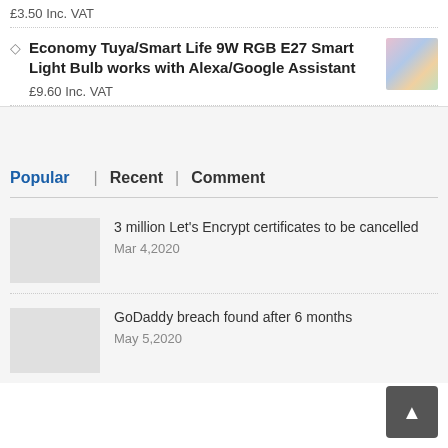£3.50 Inc. VAT
Economy Tuya/Smart Life 9W RGB E27 Smart Light Bulb works with Alexa/Google Assistant
£9.60 Inc. VAT
Popular | Recent | Comment
3 million Let's Encrypt certificates to be cancelled
Mar 4,2020
GoDaddy breach found after 6 months
May 5,2020